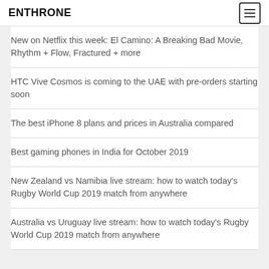ENTHRONE
New on Netflix this week: El Camino: A Breaking Bad Movie, Rhythm + Flow, Fractured + more
HTC Vive Cosmos is coming to the UAE with pre-orders starting soon
The best iPhone 8 plans and prices in Australia compared
Best gaming phones in India for October 2019
New Zealand vs Namibia live stream: how to watch today's Rugby World Cup 2019 match from anywhere
Australia vs Uruguay live stream: how to watch today's Rugby World Cup 2019 match from anywhere